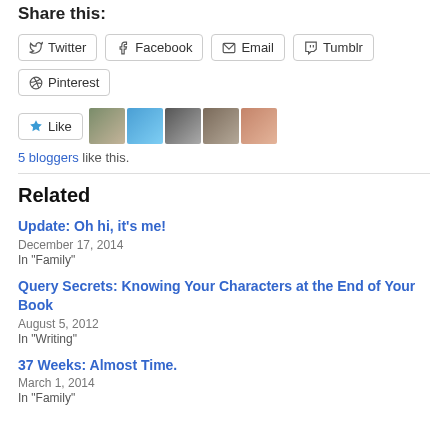Share this:
Twitter | Facebook | Email | Tumblr | Pinterest
Like | 5 bloggers like this.
Related
Update: Oh hi, it's me!
December 17, 2014
In "Family"
Query Secrets: Knowing Your Characters at the End of Your Book
August 5, 2012
In "Writing"
37 Weeks: Almost Time.
March 1, 2014
In "Family"